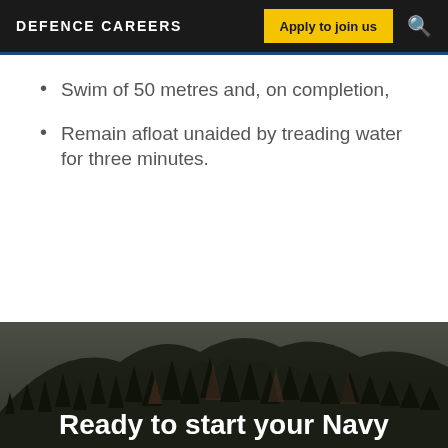DEFENCE CAREERS   Apply to join us
Swim of 50 metres and, on completion,
Remain afloat unaided by treading water for three minutes.
[Figure (photo): Dark forest with dense conifer trees on a hillside, overcast sky in background]
Ready to start your Navy